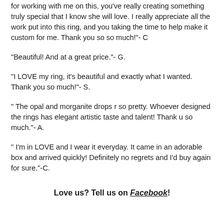for working with me on this, you've really creating something truly special that I know she will love. I really appreciate all the work put into this ring, and you taking the time to help make it custom for me. Thank you so so much!"- C
"Beautiful! And at a great price."- G.
"I LOVE my ring, it's beautiful and exactly what I wanted. Thank you so much!"- S.
" The opal and morganite drops r so pretty. Whoever designed the rings has elegant artistic taste and talent! Thank u so much."- A.
" I'm in LOVE and I wear it everyday. It came in an adorable box and arrived quickly! Definitely no regrets and I'd buy again for sure."-C.
Love us? Tell us on Facebook!